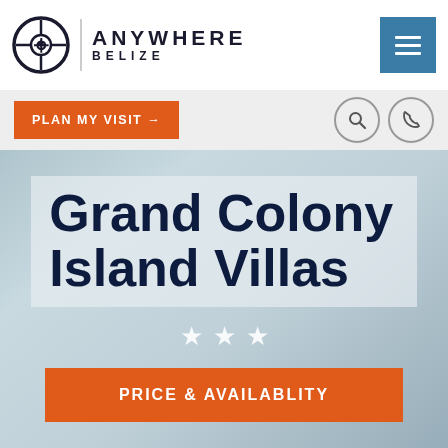Anywhere Belize
PLAN MY VISIT →
Grand Colony Island Villas
★ ★ ★
PRICE & AVAILABLITY